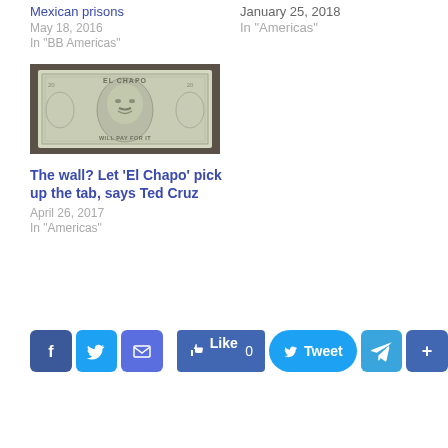Mexican prisons
May 18, 2016
In "BB Americas"
January 25, 2018
In "Americas"
[Figure (photo): A banknote-style image featuring El Chapo's face with text 'EL CHAPO' and 'WILL PAY FOR IT']
The wall? Let 'El Chapo' pick up the tab, says Ted Cruz
April 26, 2017
In "Americas"
Social share buttons: Facebook, Twitter, Email, Like 0, Tweet, Telegram, Share